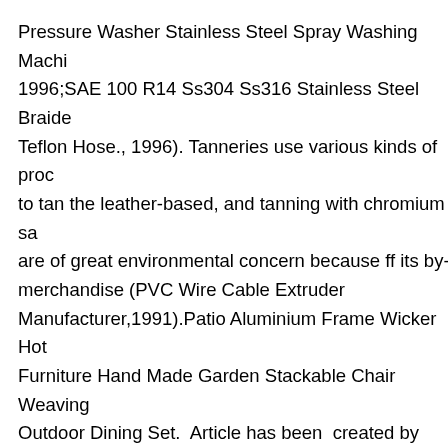Pressure Washer Stainless Steel Spray Washing Machine, 1996;SAE 100 R14 Ss304 Ss316 Stainless Steel Braided Teflon Hose., 1996). Tanneries use various kinds of products to tan the leather-based, and tanning with chromium salts are of great environmental concern because of its by-merchandise (PVC Wire Cable Extruder Manufacturer,1991).Patio Aluminium Frame Wicker Hotel Furniture Hand Made Garden Stackable Chair Weaving Outdoor Dining Set. Article has been created by GSA Content Generator Demoversion.
Create your FREE Amazon Business account to avoid wasting up to 10% with Business-solely prices and free delivery. Try a bullet with a broader or rounded head, or with a clean shaft that you should utilize sideways along